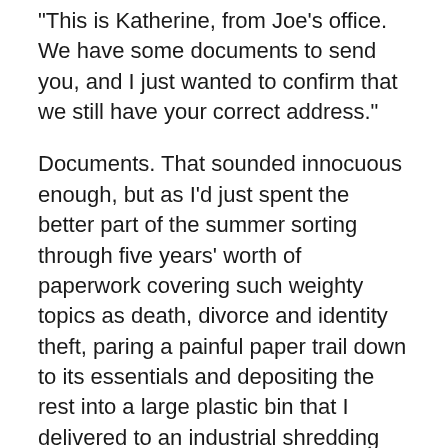“This is Katherine, from Joe’s office. We have some documents to send you, and I just wanted to confirm that we still have your correct address.”
Documents. That sounded innocuous enough, but as I’d just spent the better part of the summer sorting through five years’ worth of paperwork covering such weighty topics as death, divorce and identity theft, paring a painful paper trail down to its essentials and depositing the rest into a large plastic bin that I delivered to an industrial shredding facility in the shadow of Los Angeles International Airport, the last thing I wanted was to acquire more documents. I had begun a new life. And I intended to travel light.
I sighed, pressed “call back,” and was surprised to hear Joe’s voice – my parents’ lawyer – on the other end. I had